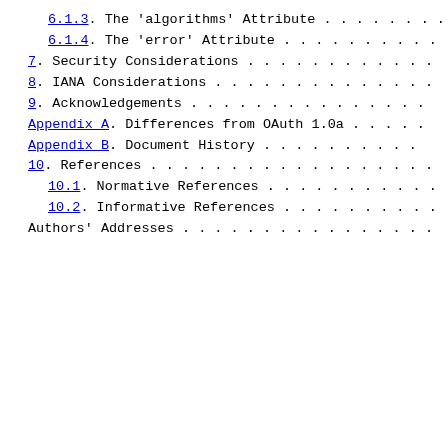6.1.3.  The 'algorithms' Attribute . . . . . . . .
6.1.4.  The 'error' Attribute . . . . . . . . . .
7.  Security Considerations . . . . . . . . . . . .
8.  IANA Considerations . . . . . . . . . . . . . .
9.  Acknowledgements . . . . . . . . . . . . . . .
Appendix A.  Differences from OAuth 1.0a . . . . .
Appendix B.  Document History . . . . . . . . . . .
10. References . . . . . . . . . . . . . . . . . .
10.1. Normative References . . . . . . . . . . . .
10.2. Informative References . . . . . . . . . . .
Authors' Addresses . . . . . . . . . . . . . . . .